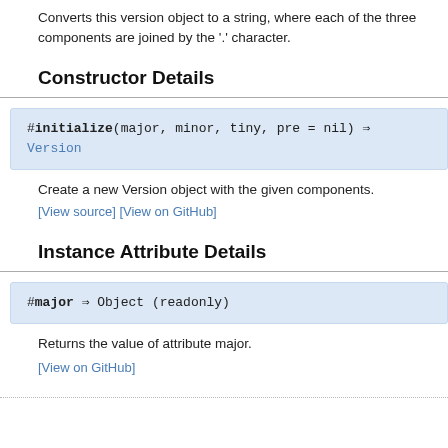Converts this version object to a string, where each of the three components are joined by the '.' character.
Constructor Details
#initialize(major, minor, tiny, pre = nil) ⇒ Version
Create a new Version object with the given components.
[View source] [View on GitHub]
Instance Attribute Details
#major ⇒ Object (readonly)
Returns the value of attribute major.
[View on GitHub]